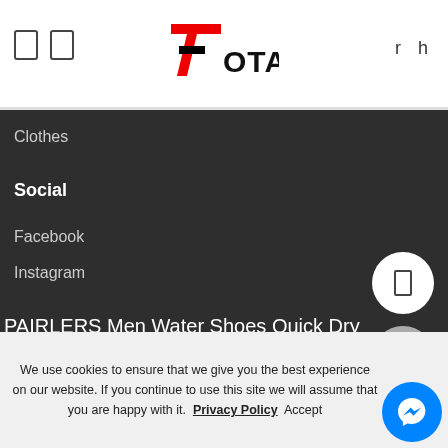7Total logo | navigation icons | r h
Clothes
Social
Facebook
Instagram
PAIRLERS Men Water Shoes Quick Dry Lightweight Beach River Surf Outdoor Walking Shoes
• http://best.am Plus SIZE 40-48 Spine/NJ2314se...am ...accessory and Fillour...tour 347
We use cookies to ensure that we give you the best experience on our website. If you continue to use this site we will assume that you are happy with it. Privacy Policy Accept